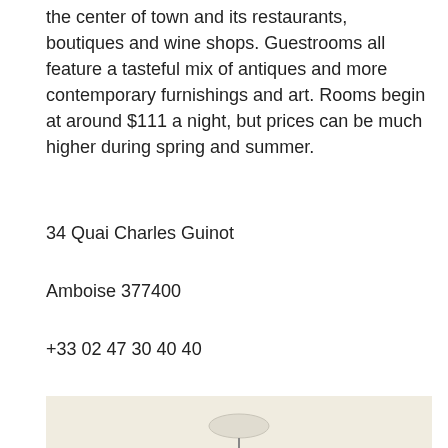the center of town and its restaurants, boutiques and wine shops. Guestrooms all feature a tasteful mix of antiques and more contemporary furnishings and art. Rooms begin at around $111 a night, but prices can be much higher during spring and summer.
34 Quai Charles Guinot
Amboise 377400
+33 02 47 30 40 40
[Figure (photo): Interior photo of a classic French hotel room with yellow walls, ornate crown molding, a chandelier, wall sconces, lamps, and elegant furnishings including what appears to be a harp in the foreground.]